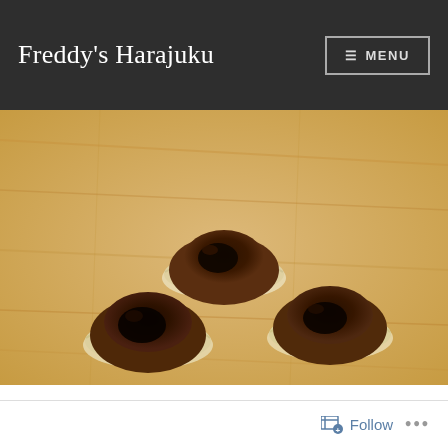Freddy's Harajuku
[Figure (photo): Three chocolate lava cakes or brownies in parchment paper cups, placed on a light wooden surface, photographed from above at a slight angle]
Follow ...